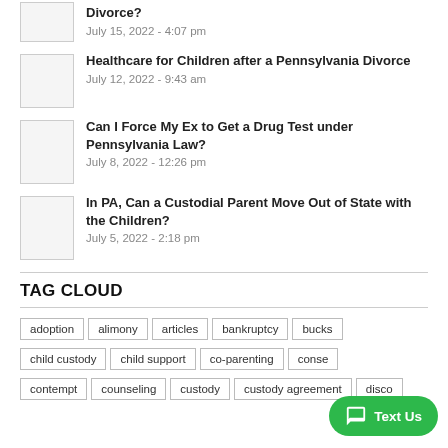Divorce? — July 15, 2022 - 4:07 pm
Healthcare for Children after a Pennsylvania Divorce — July 12, 2022 - 9:43 am
Can I Force My Ex to Get a Drug Test under Pennsylvania Law? — July 8, 2022 - 12:26 pm
In PA, Can a Custodial Parent Move Out of State with the Children? — July 5, 2022 - 2:18 pm
TAG CLOUD
adoption  alimony  articles  bankruptcy  bucks  child custody  child support  co-parenting  conse…  contempt  counseling  custody  custody agreement  discovery